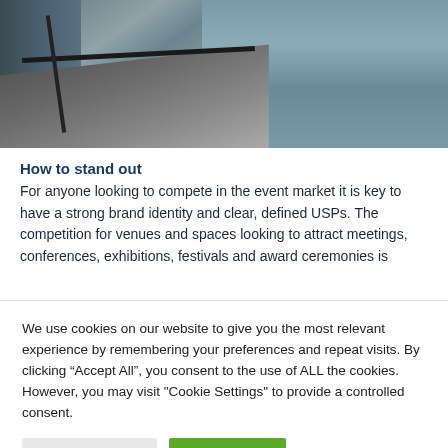[Figure (photo): Photograph of a modern walkway/bridge with metal railings overlooking a body of water, with a glass-walled building on the left side.]
How to stand out
For anyone looking to compete in the event market it is key to have a strong brand identity and clear, defined USPs. The competition for venues and spaces looking to attract meetings, conferences, exhibitions, festivals and award ceremonies is
We use cookies on our website to give you the most relevant experience by remembering your preferences and repeat visits. By clicking “Accept All”, you consent to the use of ALL the cookies. However, you may visit "Cookie Settings" to provide a controlled consent.